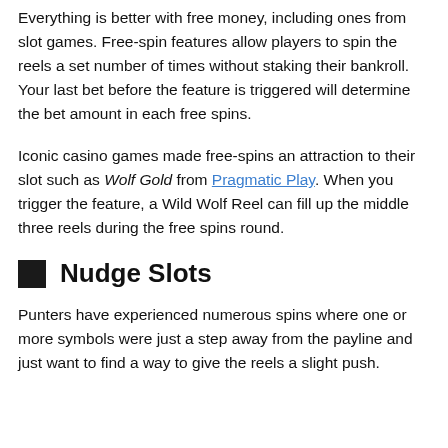Everything is better with free money, including ones from slot games. Free-spin features allow players to spin the reels a set number of times without staking their bankroll. Your last bet before the feature is triggered will determine the bet amount in each free spins.
Iconic casino games made free-spins an attraction to their slot such as Wolf Gold from Pragmatic Play. When you trigger the feature, a Wild Wolf Reel can fill up the middle three reels during the free spins round.
Nudge Slots
Punters have experienced numerous spins where one or more symbols were just a step away from the payline and just want to find a way to give the reels a slight push.